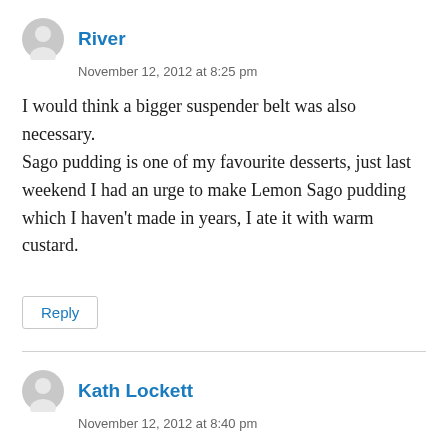River
November 12, 2012 at 8:25 pm
I would think a bigger suspender belt was also necessary.
Sago pudding is one of my favourite desserts, just last weekend I had an urge to make Lemon Sago pudding which I haven't made in years, I ate it with warm custard.
Reply
Kath Lockett
November 12, 2012 at 8:40 pm